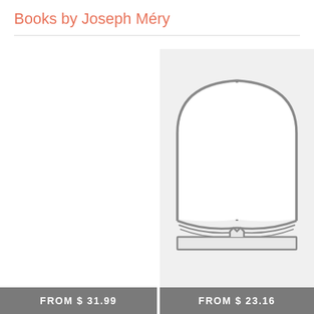Books by Joseph Méry
[Figure (illustration): Open book icon/placeholder image with line art of an open book on a light gray background]
FROM $ 31.99
FROM $ 23.16